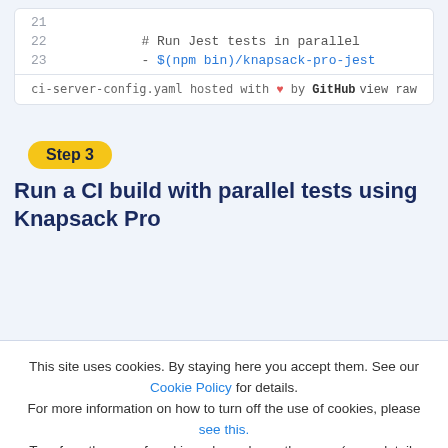[Figure (screenshot): Code block showing lines 21-23 of ci-server-config.yaml with a GitHub hosted gist footer. Line 21 is empty, line 22 shows '# Run Jest tests in parallel', line 23 shows '- $(npm bin)/knapsack-pro-jest'. Footer shows 'ci-server-config.yaml hosted with ♥ by GitHub' and 'view raw'.]
Step 3
Run a CI build with parallel tests using Knapsack Pro
This site uses cookies. By staying here you accept them. See our Cookie Policy for details. For more information on how to turn off the use of cookies, please see this. To refuse the use of cookies, please leave the page (more details here).